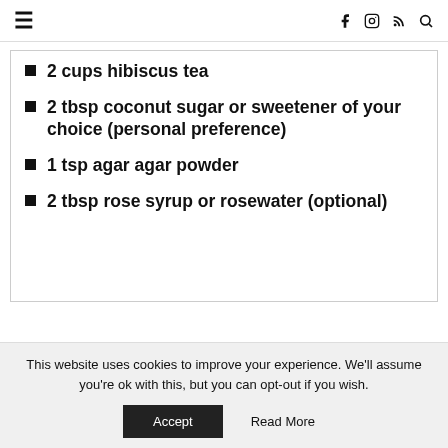≡  f  instagram  rss  search
2 cups hibiscus tea
2 tbsp coconut sugar or sweetener of your choice (personal preference)
1 tsp agar agar powder
2 tbsp rose syrup or rosewater (optional)
This website uses cookies to improve your experience. We'll assume you're ok with this, but you can opt-out if you wish. Accept  Read More